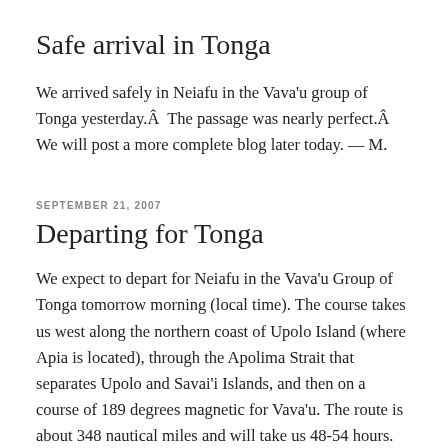Safe arrival in Tonga
We arrived safely in Neiafu in the Vava’u group of Tonga yesterday.Â  The passage was nearly perfect.Â  We will post a more complete blog later today. — M.
SEPTEMBER 21, 2007
Departing for Tonga
We expect to depart for Neiafu in the Vava’u Group of Tonga tomorrow morning (local time). The course takes us west along the northern coast of Upolo Island (where Apia is located), through the Apolima Strait that separates Upolo and Savai’i Islands, and then on a course of 189 degrees magnetic for Vava’u. The route is about 348 nautical miles and will take us 48-54 hours. The forecast is very good. Risho Maru